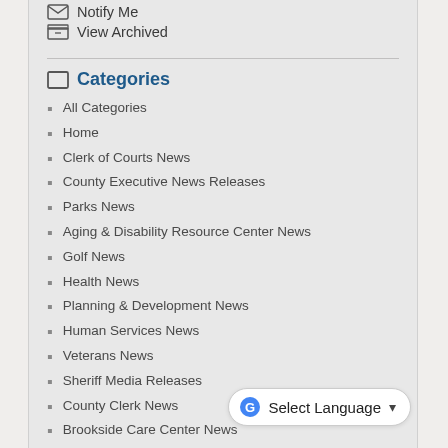Notify Me
View Archived
Categories
All Categories
Home
Clerk of Courts News
County Executive News Releases
Parks News
Aging & Disability Resource Center News
Golf News
Health News
Planning & Development News
Human Services News
Veterans News
Sheriff Media Releases
County Clerk News
Brookside Care Center News
Highway News
Treasurer News
UW Extension News